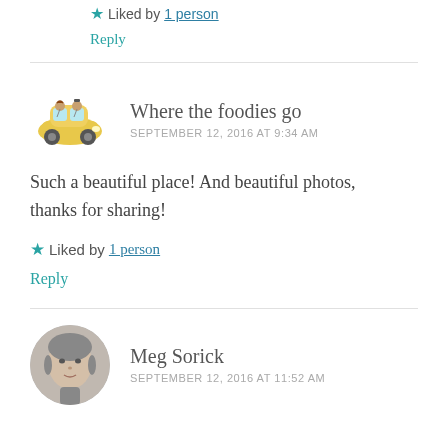Liked by 1person
Reply
Where the foodies go
SEPTEMBER 12, 2016 AT 9:34 AM
Such a beautiful place! And beautiful photos, thanks for sharing!
Liked by 1person
Reply
Meg Sorick
SEPTEMBER 12, 2016 AT 11:52 AM